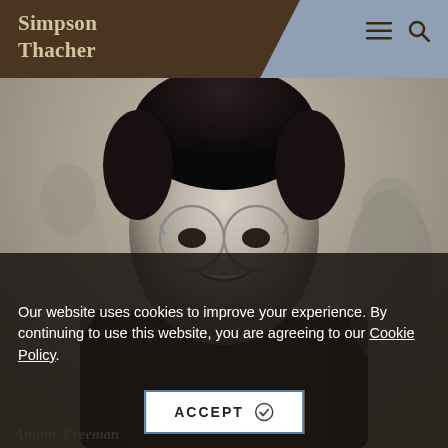[Figure (logo): Simpson Thacher law firm logo — white/gold serif text on dark brown background with blue-grey right section]
[Figure (photo): Black and white professional headshot of a young man with glasses and dark hair, smiling, wearing a suit, against a muted grey-green background with blurred figures]
Our website uses cookies to improve your experience. By continuing to use this website, you are agreeing to our Cookie Policy.
ACCEPT
Antony Freeman